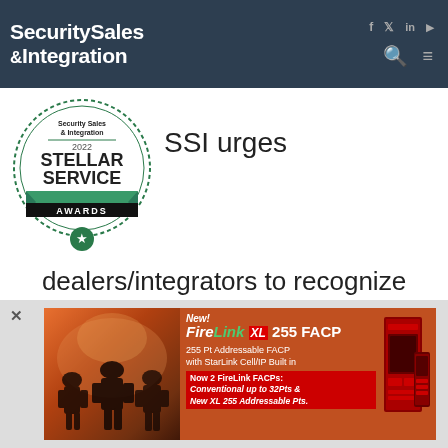Security Sales & Integration
[Figure (logo): Security Sales & Integration 2022 Stellar Service Awards badge/seal with green dotted border circle, teal ribbon banner, and star icon]
SSI urges dealers/integrators to recognize their suppliers that go above and beyond to deliver premium
[Figure (photo): Advertisement: New! FireLink XL 255 FACP - 255 Pt Addressable FACP with StarLink Cell/IP Built in. Now 2 FireLink FACPs: Conventional up to 32Pts & New XL 255 Addressable Pts. Shows firefighters silhouette and red fire alarm control panel product image.]